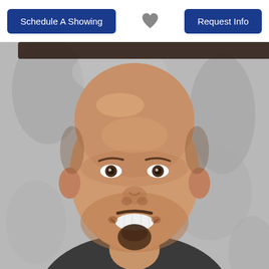[Figure (other): Schedule A Showing button on the left, a heart icon in the center, and Request Info button on the right — top navigation bar for a real estate listing page]
[Figure (photo): Portrait photo of a bald middle-aged man with a goatee, smiling, wearing a dark grey shirt with a striped tie, standing in front of a blurred grey background]